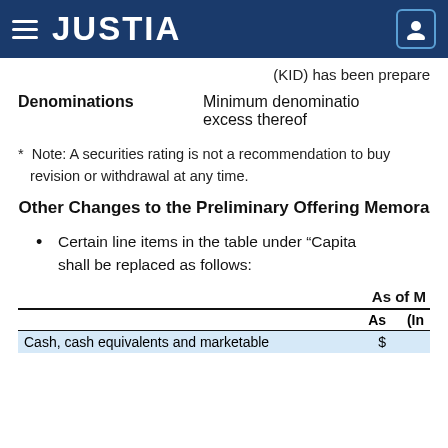JUSTIA
(KID) has been prepare
Denominations    Minimum denominatio... excess thereof
* Note: A securities rating is not a recommendation to buy... revision or withdrawal at any time.
Other Changes to the Preliminary Offering Memora...
Certain line items in the table under “Capita... shall be replaced as follows:
| As of M | As... | (In ... |
| --- | --- | --- |
| Cash, cash equivalents and marketable | $ |  |